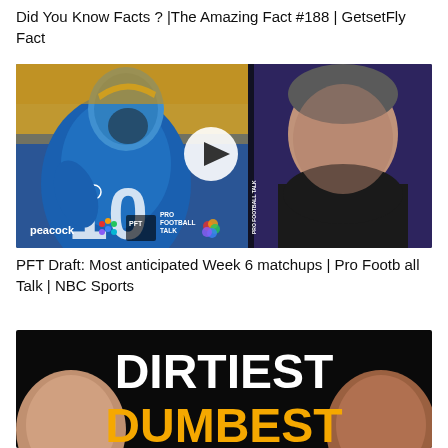Did You Know Facts ? |The Amazing Fact #188 | GetsetFly Fact
[Figure (screenshot): Video thumbnail showing NFL quarterback #10 in Los Angeles Chargers blue jersey on left, and a man in dark jacket on right, with Peacock and Pro Football Talk NBC Sports logos at bottom, and a play button in the center]
PFT Draft: Most anticipated Week 6 matchups | Pro Football Talk | NBC Sports
[Figure (screenshot): Video thumbnail with dark background showing text DIRTIEST in white bold letters and DUMBEST in orange bold letters, with partial faces visible on left and right sides]